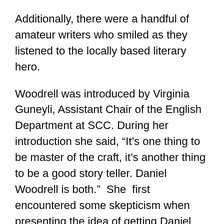Additionally, there were a handful of amateur writers who smiled as they listened to the locally based literary hero.
Woodrell was introduced by Virginia Guneyli, Assistant Chair of the English Department at SCC. During her introduction she said, “It’s one thing to be master of the craft, it’s another thing to be a good story teller. Daniel Woodrell is both.”  She  first encountered some skepticism when presenting the idea of getting Daniel Woodrell to be a guest speaker. “He is just so famous” is what her coworkers said. Guneyli credited the teamwork that exists between the different departments at SCC in making something like this happen. “Winter’s Bone” is part of the curriculum in her contemporary literature class, and she explained that it was a student in her class, Jake Germann, who was particularly moved by the book and he wanted to meet the author. When asked about what